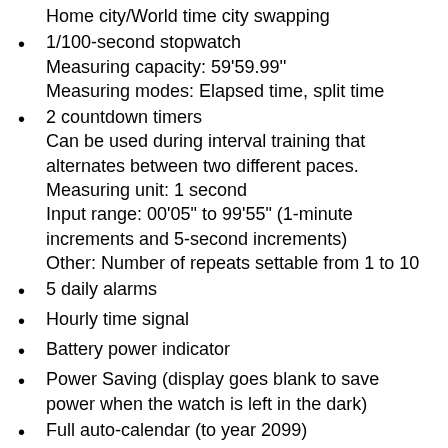Home city/World time city swapping
1/100-second stopwatch
Measuring capacity: 59'59.99''
Measuring modes: Elapsed time, split time
2 countdown timers
Can be used during interval training that alternates between two different paces.
Measuring unit: 1 second
Input range: 00'05" to 99'55" (1-minute increments and 5-second increments)
Other: Number of repeats settable from 1 to 10
5 daily alarms
Hourly time signal
Battery power indicator
Power Saving (display goes blank to save power when the watch is left in the dark)
Full auto-calendar (to year 2099)
12/24-hour format